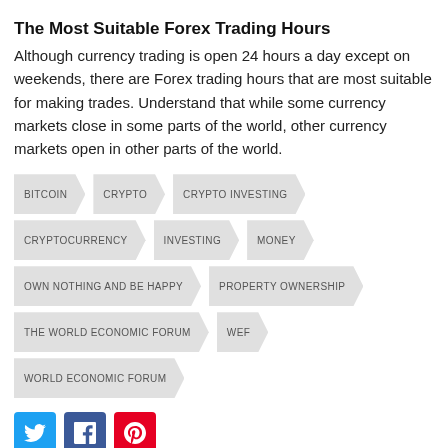The Most Suitable Forex Trading Hours
Although currency trading is open 24 hours a day except on weekends, there are Forex trading hours that are most suitable for making trades. Understand that while some currency markets close in some parts of the world, other currency markets open in other parts of the world.
BITCOIN
CRYPTO
CRYPTO INVESTING
CRYPTOCURRENCY
INVESTING
MONEY
OWN NOTHING AND BE HAPPY
PROPERTY OWNERSHIP
THE WORLD ECONOMIC FORUM
WEF
WORLD ECONOMIC FORUM
[Figure (infographic): Social sharing buttons: Twitter (cyan), Facebook (blue), Pinterest (red)]